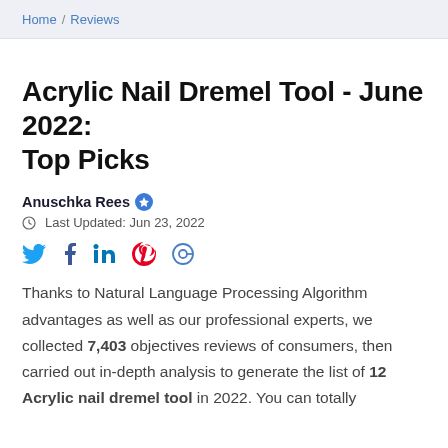Home / Reviews
Acrylic Nail Dremel Tool - June 2022: Top Picks
Anuschka Rees ✪
Last Updated: Jun 23, 2022
[Figure (other): Social media share icons: Twitter, Facebook, LinkedIn, Pinterest, Email]
Thanks to Natural Language Processing Algorithm advantages as well as our professional experts, we collected 7,403 objectives reviews of consumers, then carried out in-depth analysis to generate the list of 12 Acrylic nail dremel tool in 2022. You can totally